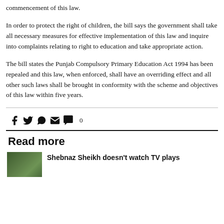commencement of this law.
In order to protect the right of children, the bill says the government shall take all necessary measures for effective implementation of this law and inquire into complaints relating to right to education and take appropriate action.
The bill states the Punjab Compulsory Primary Education Act 1994 has been repealed and this law, when enforced, shall have an overriding effect and all other such laws shall be brought in conformity with the scheme and objectives of this law within five years.
Read more
Shebnaz Sheikh doesn't watch TV plays